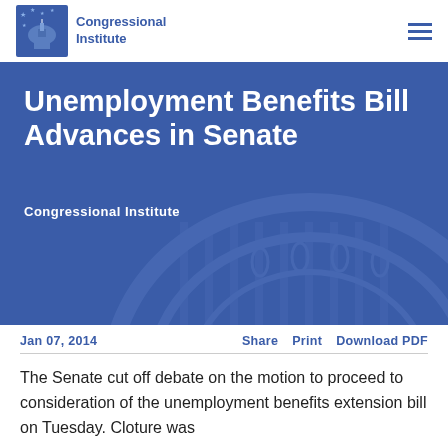Congressional Institute
[Figure (logo): Congressional Institute logo with capitol building silhouette and stars]
Unemployment Benefits Bill Advances in Senate
Congressional Institute
Jan 07, 2014    Share  Print  Download PDF
The Senate cut off debate on the motion to proceed to consideration of the unemployment benefits extension bill on Tuesday. Cloture was